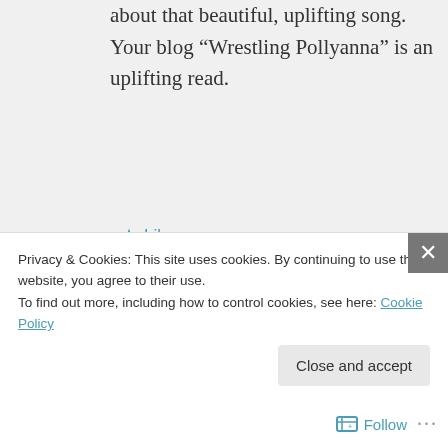about that beautiful, uplifting song. Your blog “Wrestling Pollyanna” is an uplifting read.
★ Like
↳ Reply
WrestlingPollyanna.com on December 12, 2012 at 1:26 am
Thanks. Most appreciated. I thought
Privacy & Cookies: This site uses cookies. By continuing to use this website, you agree to their use.
To find out more, including how to control cookies, see here: Cookie Policy
Close and accept
Follow